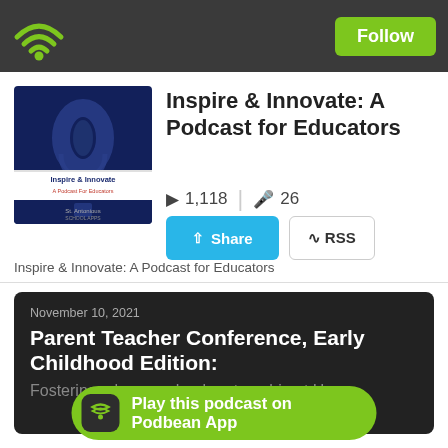[Figure (logo): Podbean app WiFi/podcast icon in green on dark header bar]
Follow
[Figure (photo): Inspire & Innovate: A Podcast for Educators podcast artwork - dark blue background with microphone silhouette]
Inspire & Innovate: A Podcast for Educators
1,118  |  26
Share  RSS
Inspire & Innovate: A Podcast for Educators
November 10, 2021
Parent Teacher Conference, Early Childhood Edition:
Fostering a home-school partnership at Home
Play this podcast on Podbean App